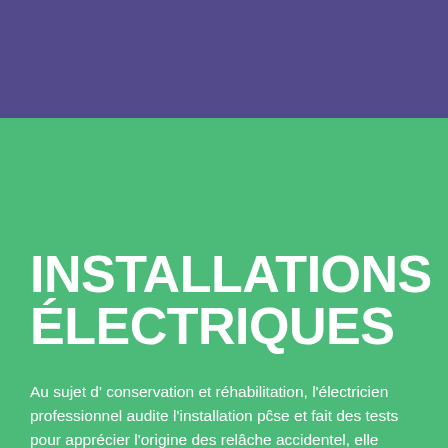INSTALLATIONS ÉLECTRIQUES
Au sujet d' conservation et réhabilitation, l'électricien professionnel audite l'installation pĉse et fait des tests pour apprécier l'origine des relâche accidentel, elle